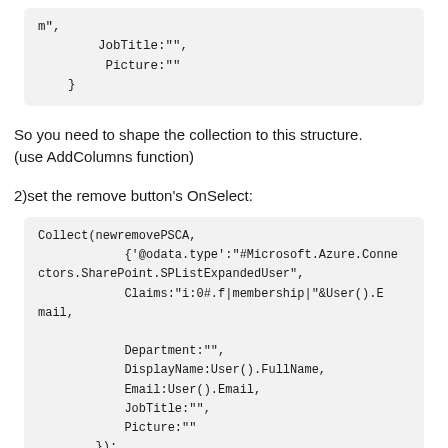m",
        JobTitle:"",
         Picture:""
    }
So you need to shape the collection to this structure.
(use AddColumns function)
2)set the remove button's OnSelect:
Collect(newremovePSCA,
            {'@odata.type':"#Microsoft.Azure.Connectors.SharePoint.SPListExpandedUser",
            Claims:"i:0#.f|membership|"&User().Email,

            Department:"",
            DisplayName:User().FullName,
            Email:User().Email,
            JobTitle:"",
            Picture:""
        });